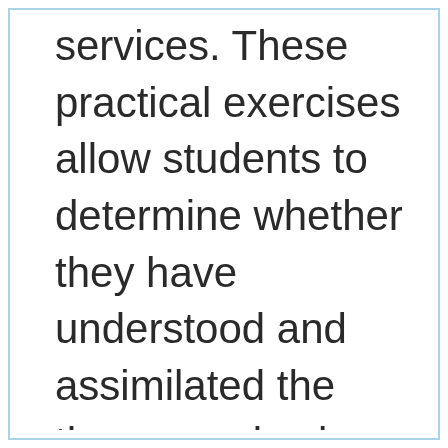services. These practical exercises allow students to determine whether they have understood and assimilated the theory, and ask